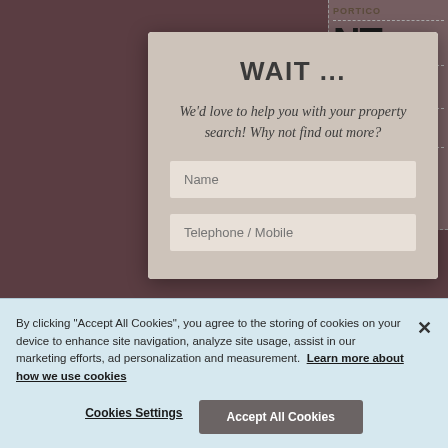[Figure (screenshot): Website screenshot showing a modal dialog with 'WAIT ...' heading and property search help text, with Name and Telephone/Mobile input fields, overlaid on a dark brownish-purple background with partial text (PORTICO, NT, ION, VE) visible on the right side.]
WAIT ...
We'd love to help you with your property search! Why not find out more?
By clicking “Accept All Cookies”, you agree to the storing of cookies on your device to enhance site navigation, analyze site usage, assist in our marketing efforts, ad personalization and measurement.  Learn more about how we use cookies
Cookies Settings
Accept All Cookies